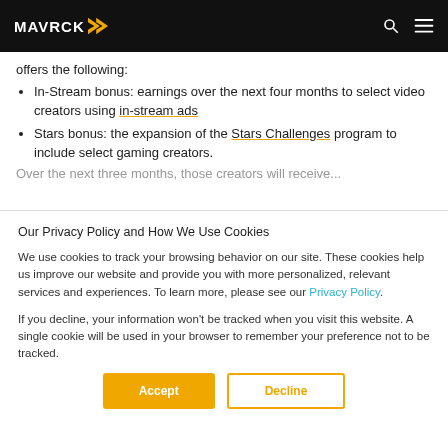MAVRCK
offers the following:
In-Stream bonus: earnings over the next four months to select video creators using in-stream ads
Stars bonus: the expansion of the Stars Challenges program to include select gaming creators.
Our Privacy Policy and How We Use Cookies
We use cookies to track your browsing behavior on our site. These cookies help us improve our website and provide you with more personalized, relevant services and experiences. To learn more, please see our Privacy Policy.
If you decline, your information won't be tracked when you visit this website. A single cookie will be used in your browser to remember your preference not to be tracked.